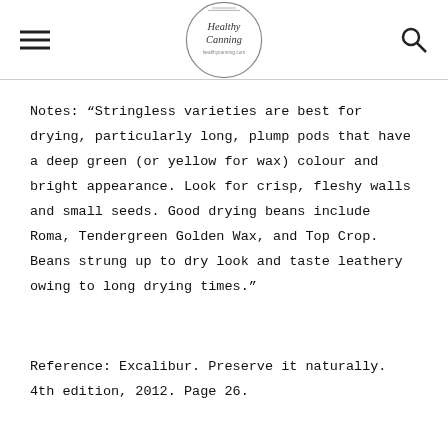Healthy Canning healthycanning.com
Notes: “Stringless varieties are best for drying, particularly long, plump pods that have a deep green (or yellow for wax) colour and bright appearance. Look for crisp, fleshy walls and small seeds. Good drying beans include Roma, Tendergreen Golden Wax, and Top Crop. Beans strung up to dry look and taste leathery owing to long drying times.”
Reference: Excalibur. Preserve it naturally. 4th edition, 2012. Page 26.